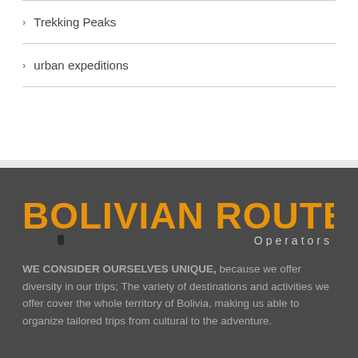> Trekking Peaks
> urban expeditions
[Figure (logo): Bolivian Routes Operators logo with orange distressed text on dark background, with a small silhouette figure]
WE CONSIDER OURSELVES UNIQUE, because we offer diversity in our trips; The variety of destinations and activities we offer cover the whole territory of Bolivia, making us able to organize tailored trips from cultural to the adventure.